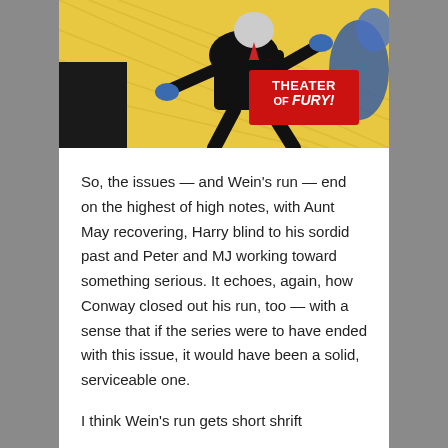[Figure (illustration): Comic book panel showing a figure in a black suit being grabbed or thrown, with a red box reading 'THEATER OF FURY!' on a yellow background with blue figures visible at the edges.]
So, the issues — and Wein's run — end on the highest of high notes, with Aunt May recovering, Harry blind to his sordid past and Peter and MJ working toward something serious. It echoes, again, how Conway closed out his run, too — with a sense that if the series were to have ended with this issue, it would have been a solid, serviceable one.
I think Wein's run gets short shrift